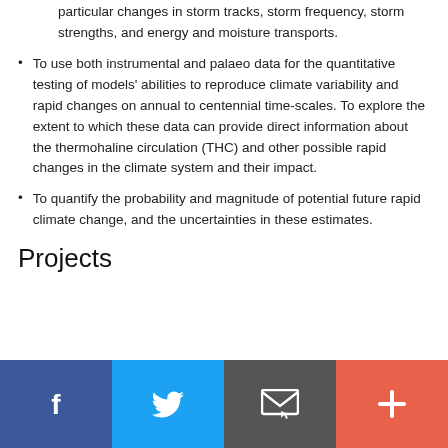particular changes in storm tracks, storm frequency, storm strengths, and energy and moisture transports.
To use both instrumental and palaeo data for the quantitative testing of models' abilities to reproduce climate variability and rapid changes on annual to centennial time-scales. To explore the extent to which these data can provide direct information about the thermohaline circulation (THC) and other possible rapid changes in the climate system and their impact.
To quantify the probability and magnitude of potential future rapid climate change, and the uncertainties in these estimates.
Projects
[Figure (infographic): Footer bar with four social/share buttons: Facebook (blue), Twitter (light blue), Email/envelope (dark grey), Plus/more (orange-red)]